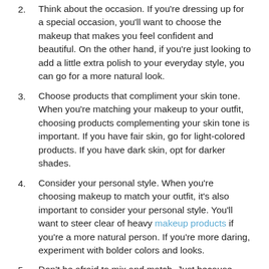Think about the occasion. If you're dressing up for a special occasion, you'll want to choose the makeup that makes you feel confident and beautiful. On the other hand, if you're just looking to add a little extra polish to your everyday style, you can go for a more natural look.
Choose products that compliment your skin tone. When you're matching your makeup to your outfit, choosing products complementing your skin tone is important. If you have fair skin, go for light-colored products. If you have dark skin, opt for darker shades.
Consider your personal style. When you're choosing makeup to match your outfit, it's also important to consider your personal style. You'll want to steer clear of heavy makeup products if you're a more natural person. If you're more daring, experiment with bolder colors and looks.
Don't be afraid to mix and match. Just because you're matching your makeup to your outfit doesn't mean you have to be matchy-matchy. Mixing and matching different colors can actually create a more interesting and unique look. So, don't be afraid to experiment!
Now you know how to match your makeup to your outfit for a flawless look. So, get out there and start trying out some new combinations! You might be surprised at how great you look.